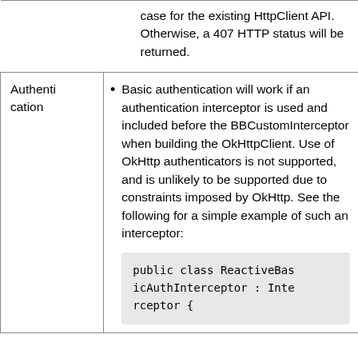case for the existing HttpClient API. Otherwise, a 407 HTTP status will be returned.
Authentication
Basic authentication will work if an authentication interceptor is used and included before the BBCustomInterceptor when building the OkHttpClient. Use of OkHttp authenticators is not supported, and is unlikely to be supported due to constraints imposed by OkHttp. See the following for a simple example of such an interceptor:
public class ReactiveBasicAuthInterceptor : Interceptor {